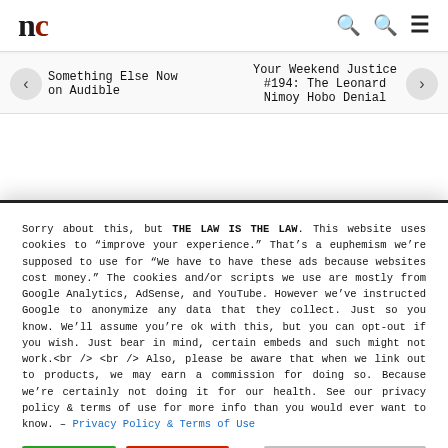nc [logo] [search icons] [menu]
Something Else Now on Audible
Your Weekend Justice #194: The Leonard Nimoy Hobo Denial
Sorry about this, but THE LAW IS THE LAW. This website uses cookies to "improve your experience." That's a euphemism we're supposed to use for "We have to have these ads because websites cost money." The cookies and/or scripts we use are mostly from Google Analytics, AdSense, and YouTube. However we've instructed Google to anonymize any data that they collect. Just so you know. We'll assume you're ok with this, but you can opt-out if you wish. Just bear in mind, certain embeds and such might not work.<br /> <br /> Also, please be aware that when we link out to products, we may earn a commission for doing so. Because we're certainly not doing it for our health. See our privacy policy & terms of use for more info than you would ever want to know. – Privacy Policy & Terms of Use